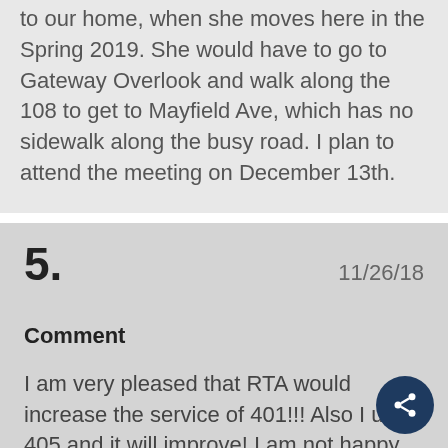to our home, when she moves here in the Spring 2019. She would have to go to Gateway Overlook and walk along the 108 to get to Mayfield Ave, which has no sidewalk along the busy road.  I plan to attend the meeting on December 13th.
5.    11/26/18
Comment
I am very pleased that RTA would increase the service of 401!!! Also I use 405 and it will improve! I am not happy that 501 ...